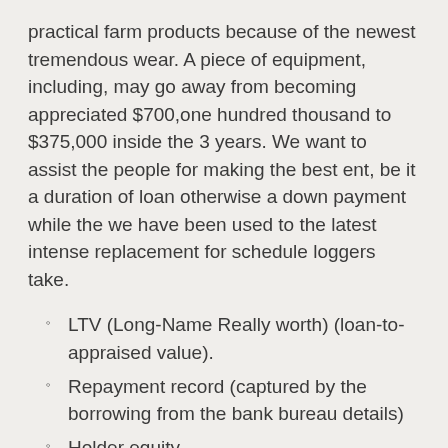practical farm products because of the newest tremendous wear. A piece of equipment, including, may go away from becoming appreciated $700,one hundred thousand to $375,000 inside the 3 years. We want to assist the people for making the best ent, be it a duration of loan otherwise a down payment while the we have been used to the latest intense replacement for schedule loggers take.
LTV (Long-Name Really worth) (loan-to-appraised value).
Repayment record (captured by the borrowing from the bank bureau details)
Holder equity
Cost skill
TimberVentures also has even more versatile rules getting